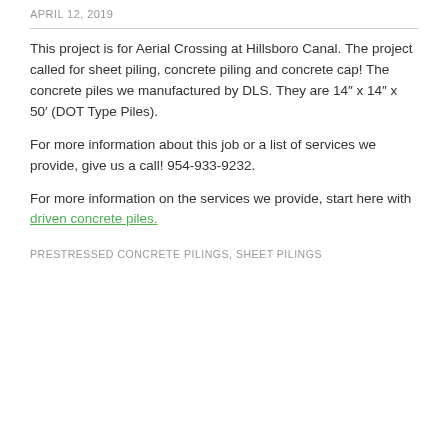APRIL 12, 2019
This project is for Aerial Crossing at Hillsboro Canal. The project called for sheet piling, concrete piling and concrete cap! The concrete piles we manufactured by DLS. They are 14″ x 14″ x 50’ (DOT Type Piles).
For more information about this job or a list of services we provide, give us a call! 954-933-9232.
For more information on the services we provide, start here with driven concrete piles.
PRESTRESSED CONCRETE PILINGS, SHEET PILINGS